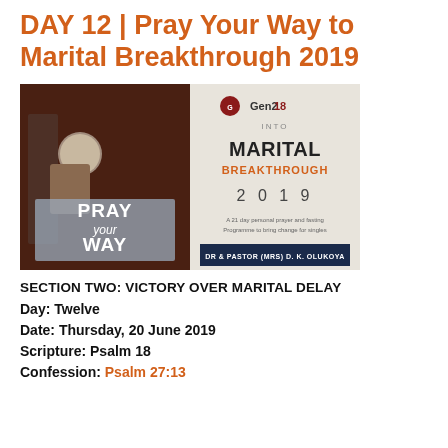DAY 12 | Pray Your Way to Marital Breakthrough 2019
[Figure (photo): Book cover image showing 'Pray Your Way Into Marital Breakthrough 2019' by Dr & Pastor (Mrs) D.K. Olukoya, a 21-day personal prayer and fasting programme to bring change for singles. Left side shows a hand holding a metal ball with text 'PRAY your WAY', right side shows the book cover with 'Gen218' logo.]
SECTION TWO: VICTORY OVER MARITAL DELAY
Day: Twelve
Date: Thursday, 20 June 2019
Scripture: Psalm 18
Confession: Psalm 27:13